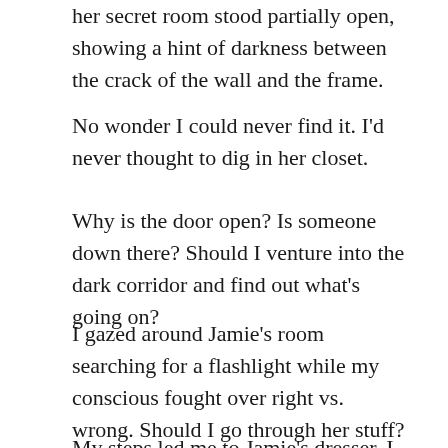her secret room stood partially open, showing a hint of darkness between the crack of the wall and the frame.
No wonder I could never find it. I'd never thought to dig in her closet.
Why is the door open? Is someone down there? Should I venture into the dark corridor and find out what's going on?
I gazed around Jamie's room searching for a flashlight while my conscious fought over right vs. wrong. Should I go through her stuff? I really needed a flashlight. Darkness seeped out of the closet.
My steps led me to Jamie's dresser. I would search her